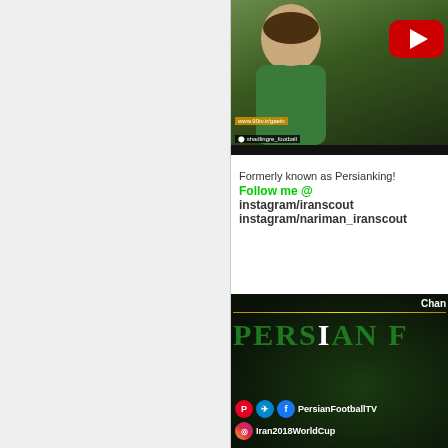[Figure (screenshot): Left gray panel sidebar]
[Figure (screenshot): YouTube video thumbnail showing a football player in green jersey with YouTube play button, www.90tv.ir url overlay and social handle overlay, black bottom bar]
Formerly known as Persianking!
Follow me @
instagram/iranscout
instagram/nariman_iranscout
[Figure (screenshot): Persian Football TV channel art with green Persian F text, gold line, social icons for Pinterest, Telegram, Facebook showing PersianFootballTV, and Instagram showing Iran2018WorldCup]